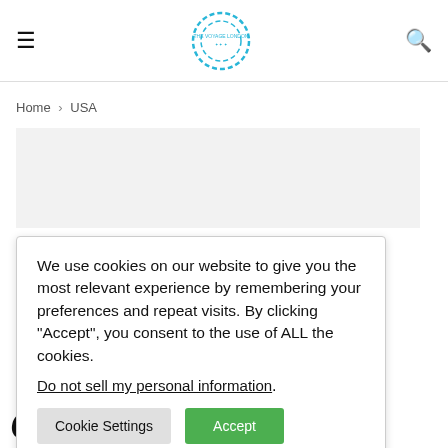☰  [The Voyage London logo]  🔍
Home > USA
[Figure (other): Advertisement placeholder, light gray background]
We use cookies on our website to give you the most relevant experience by remembering your preferences and repeat visits. By clicking "Accept", you consent to the use of ALL the cookies.
Do not sell my personal information.
[Cookie Settings] [Accept]
eadows n cusp of
Carl's headings